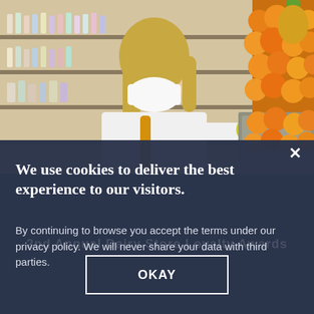[Figure (photo): A woman wearing a white turtleneck and yellow tote bag, also wearing a face mask, selecting fruit (holding a lemon/avocado) in a grocery store produce section with oranges visible on the right and store shelves in the background.]
We use cookies to deliver the best experience to our visitors.
By continuing to browse you accept the terms under our privacy policy. We will never share your data with third parties.
OKAY